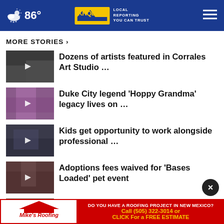86° KRQE LOCAL REPORTING YOU CAN TRUST
MORE STORIES ›
[Figure (photo): Thumbnail image for Corrales Art Studio story]
Dozens of artists featured in Corrales Art Studio …
[Figure (photo): Thumbnail image for Hoppy Grandma story]
Duke City legend 'Hoppy Grandma' legacy lives on …
[Figure (photo): Thumbnail image for Kids opportunity story]
Kids get opportunity to work alongside professional …
[Figure (photo): Thumbnail image for Adoptions fees story]
Adoptions fees waived for 'Bases Loaded' pet event
[Figure (photo): Thumbnail image for fifth story (partial)]
…ver
[Figure (advertisement): Mike's Roofing ad: DO YOU HAVE A ROOFING PROJECT IN NEW MEXICO? Call (505) 322-3014 or CLICK For a FREE ESTIMATE]